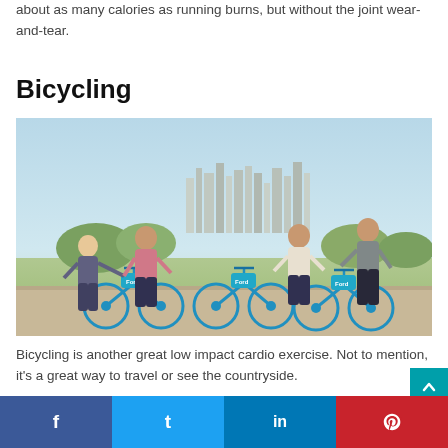about as many calories as running burns, but without the joint wear-and-tear.
Bicycling
[Figure (photo): Four young people with Ford GoBike blue bicycles in front of a city skyline on a sunny day]
Bicycling is another great low impact cardio exercise. Not to mention, it's a great way to travel or see the countryside.
f  t  in  (Pinterest icon)